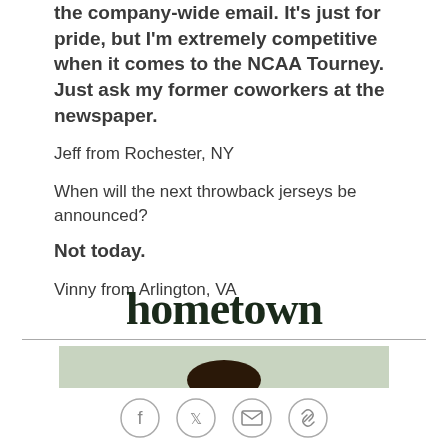the company-wide email. It's just for pride, but I'm extremely competitive when it comes to the NCAA Tourney. Just ask my former coworkers at the newspaper.
Jeff from Rochester, NY
When will the next throwback jerseys be announced?
Not today.
Vinny from Arlington, VA
hometown
[Figure (photo): A bearded man wearing a dark green shirt, photographed outdoors with green grass in the background.]
Social share icons: Facebook, Twitter, Email, Link